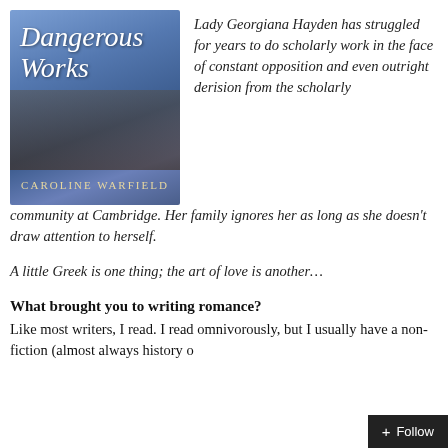[Figure (illustration): Book cover of 'Dangerous Works' by Caroline Warfield. Features a woman in a blue dress against a background with gothic architecture. Title in italic white script, author name in gold uppercase letters at bottom.]
Lady Georgiana Hayden has struggled for years to do scholarly work in the face of constant opposition and even outright derision from the scholarly community at Cambridge. Her family ignores her as long as she doesn't draw attention to herself.
A little Greek is one thing; the art of love is another…
What brought you to writing romance?
Like most writers, I read. I read omnivorously, but I usually have a non-fiction (almost always history o